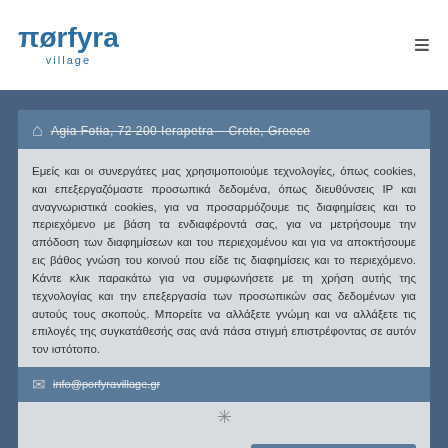[Figure (logo): Porfyra Village logo with stylized Greek-looking text and 'village' subtitle]
Agia Fotia, 72 200 Ierapetra – Crete, Greece
Εμείς και οι συνεργάτες μας χρησιμοποιούμε τεχνολογίες, όπως cookies, και επεξεργαζόμαστε προσωπικά δεδομένα, όπως διευθύνσεις IP και αναγνωριστικά cookies, για να προσαρμόζουμε τις διαφημίσεις και το περιεχόμενο με βάση τα ενδιαφέροντά σας, για να μετρήσουμε την απόδοση των διαφημίσεων και του περιεχομένου και για να αποκτήσουμε εις βάθος γνώση του κοινού που είδε τις διαφημίσεις και το περιεχόμενο. Κάντε κλικ παρακάτω για να συμφωνήσετε με τη χρήση αυτής της τεχνολογίας και την επεξεργασία των προσωπικών σας δεδομένων για αυτούς τους σκοπούς. Μπορείτε να αλλάξετε γνώμη και να αλλάξετε τις επιλογές της συγκατάθεσής σας ανά πάσα στιγμή επιστρέφοντας σε αυτόν τον ιστότοπο.
ΡΥΘΜΙΣΕΙΣ
ΑΠΟΔΕΧΟΜΑΙ